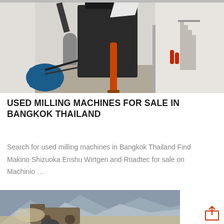[Figure (photo): Industrial milling machine in a factory setting, large dark metal machinery with orange drill/rod component, blue motor on left, stairs on right, white walls]
USED MILLING MACHINES FOR SALE IN BANGKOK THAILAND
Search for used milling machines in Bangkok Thailand Find Makino Shizuoka Enshu Wirtgen and Roadtec for sale on Machinio …
[Figure (photo): Road milling machine operating near mountainous terrain, dusty environment with grey-blue mountains in background]